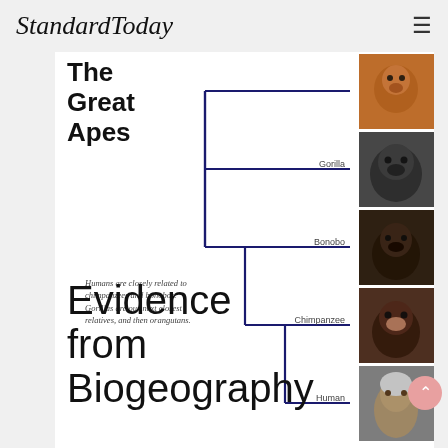StandardToday
The Great Apes
[Figure (other): Phylogenetic cladogram showing evolutionary relationships between Orangutan, Gorilla, Bonobo, Chimpanzee, and Human, with photos of each species]
Humans are closely related to chimpanzees and bonobos. Gorillas are our next closest relatives, and then orangutans.
Evidence from Biogeography